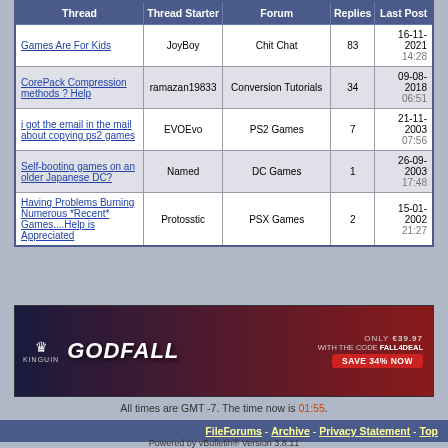| Thread | Thread Starter | Forum | Replies | Last Post |
| --- | --- | --- | --- | --- |
| Games Are For Kids | JoyBoy | Chit Chat | 83 | 16-11-2021 14:28 |
| CorePack Compression methods ? Help | ramazan19833 | Conversion Tutorials | 34 | 09-08-2018 06:51 |
| i got the email in the mail about copying ps2 games | EVOEvo | PS2 Games | 7 | 21-11-2003 07:56 |
| Self-booting games on an older Japanese DC? | Named | DC Games | 1 | 26-09-2003 17:48 |
| Having Problems Burning Numerous *Recent* Games....Help is Appreciated | Protosstic | PSX Games | 2 | 15-01-2002 21:27 |
[Figure (other): Kinguin advertisement banner for Godfall game: ONLY €39.97 WITH THE CODE FALL4DEAL SAVE 34% NOW]
All times are GMT -7. The time now is 01:55.
FileForums - Archive - Privacy Statement - Top
Powered by vBulletin® Version 3.8.11
Copyright ©2000 – 2022, vBulletin Solutions Inc.
Copyright 2000-2020, FileForums @ https://fileforums.com